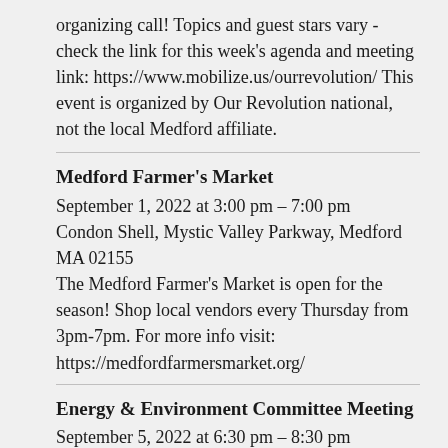organizing call! Topics and guest stars vary - check the link for this week's agenda and meeting link: https://www.mobilize.us/ourrevolution/ This event is organized by Our Revolution national, not the local Medford affiliate.
Medford Farmer's Market
September 1, 2022 at 3:00 pm – 7:00 pm
Condon Shell, Mystic Valley Parkway, Medford MA 02155
The Medford Farmer's Market is open for the season! Shop local vendors every Thursday from 3pm-7pm. For more info visit: https://medfordfarmersmarket.org/
Energy & Environment Committee Meeting
September 5, 2022 at 6:30 pm – 8:30 pm
Backyard, 15 West St, Medford, MA 02155, USA
Join Zoom
Meeting: https://zoom.us/j/96291215902Meeting ID: 962 9121 5902One tap mobile+19292056099,,96291215902# US